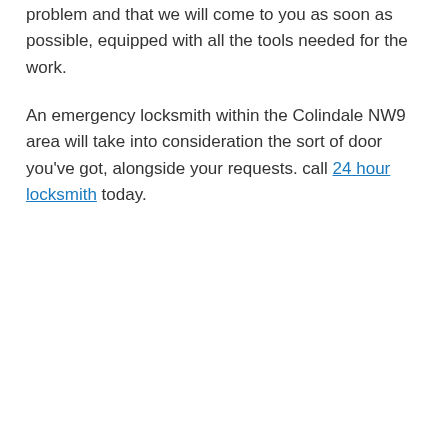problem and that we will come to you as soon as possible, equipped with all the tools needed for the work.
An emergency locksmith within the Colindale NW9 area will take into consideration the sort of door you've got, alongside your requests. call 24 hour locksmith today.